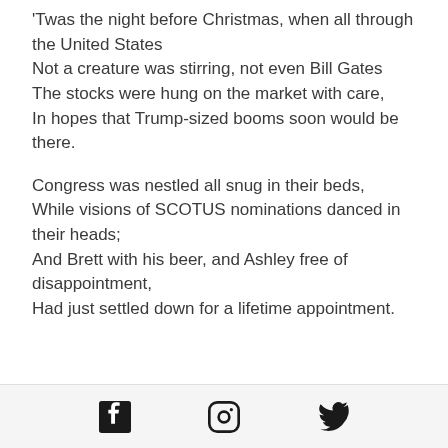'Twas the night before Christmas, when all through the United States
Not a creature was stirring, not even Bill Gates
The stocks were hung on the market with care,
In hopes that Trump-sized booms soon would be there.
Congress was nestled all snug in their beds,
While visions of SCOTUS nominations danced in their heads;
And Brett with his beer, and Ashley free of disappointment,
Had just settled down for a lifetime appointment.
[Figure (other): Social media icons: Facebook, Instagram, Twitter in a footer bar]